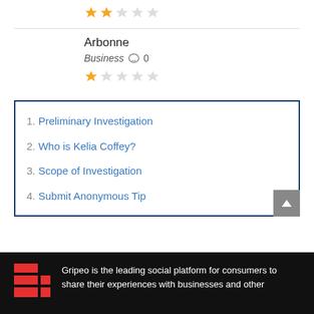[Figure (other): 2-star rating (orange filled stars) at top of page]
Arbonne
Business  💬 0
[Figure (other): 1.5-star rating (orange filled stars) below business name]
1. Preliminary Investigation
2. Who is Kelia Coffey?
3. Scope of Investigation
4. Submit Anonymous Tip
Gripeo is the leading social platform for consumers to share their experiences with businesses and other